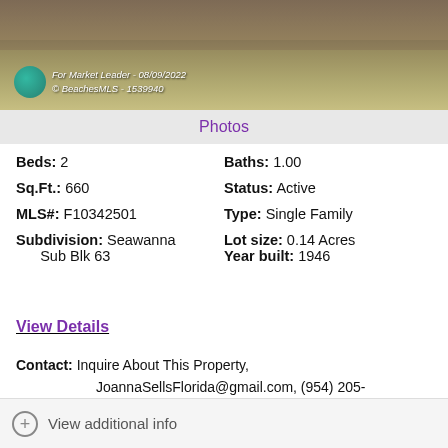[Figure (photo): Outdoor property photo showing ground/grass area with watermark overlay: For Market Leader - 08/09/2022, © BeachesMLS - 1539940]
Photos
Beds: 2
Baths: 1.00
Sq.Ft.: 660
Status: Active
MLS#: F10342501
Type: Single Family
Subdivision: Seawanna Sub Blk 63
Lot size: 0.14 Acres
Year built: 1946
View Details
Contact: Inquire About This Property, JoannaSellsFlorida@gmail.com, (954) 205-5424
Courtesy: Better Homes & Gdns RE Fla 1st
Request Info   Save Property
View additional info